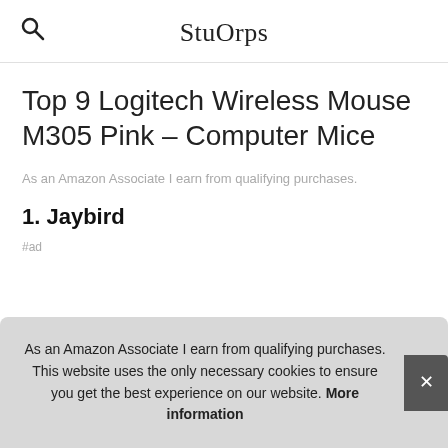StuOrps
Top 9 Logitech Wireless Mouse M305 Pink – Computer Mice
As an Amazon Associate I earn from qualifying purchases.
1. Jaybird
#ad
As an Amazon Associate I earn from qualifying purchases. This website uses the only necessary cookies to ensure you get the best experience on our website. More information